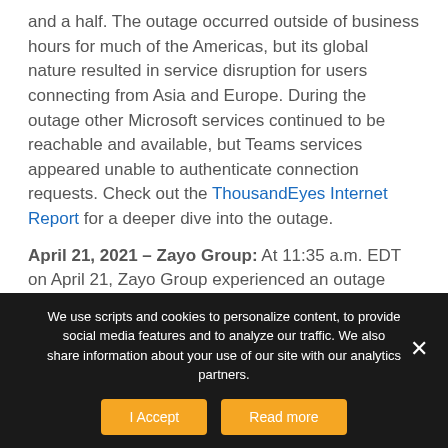and a half. The outage occurred outside of business hours for much of the Americas, but its global nature resulted in service disruption for users connecting from Asia and Europe. During the outage other Microsoft services continued to be reachable and available, but Teams services appeared unable to authenticate connection requests. Check out the ThousandEyes Internet Report for a deeper dive into the outage.
April 21, 2021 – Zayo Group: At 11:35 a.m. EDT on April 21, Zayo Group experienced an outage
We use scripts and cookies to personalize content, to provide social media features and to analyze our traffic. We also share information about your use of our site with our analytics partners.